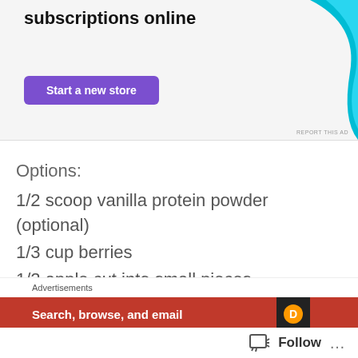[Figure (screenshot): Advertisement banner with text 'How to start selling subscriptions online', a purple 'Start a new store' button, and a cyan decorative shape on the right side]
Options:
1/2 scoop vanilla protein powder (optional)
1/3 cup berries
1/2 apple cut into small pieces
1 tsp cinnamon
What You Need To Do:
In a small pot add in the milk, oats and nut and
[Figure (screenshot): Bottom advertisement overlay with 'Advertisements' label, orange banner with 'Search, browse, and email' text, and a dark icon on the right. A Follow button appears at the bottom right with a chat icon and three dots menu.]